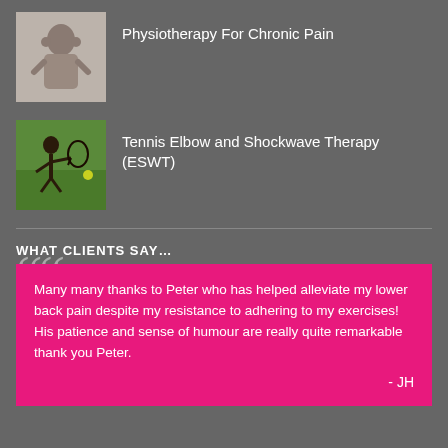[Figure (photo): Person viewed from behind, holding neck/back area — chronic pain illustration]
Physiotherapy For Chronic Pain
[Figure (photo): Tennis player in action on a grass court]
Tennis Elbow and Shockwave Therapy (ESWT)
WHAT CLIENTS SAY…
Many many thanks to Peter who has helped alleviate my lower back pain despite my resistance to adhering to my exercises! His patience and sense of humour are really quite remarkable thank you Peter.
- JH